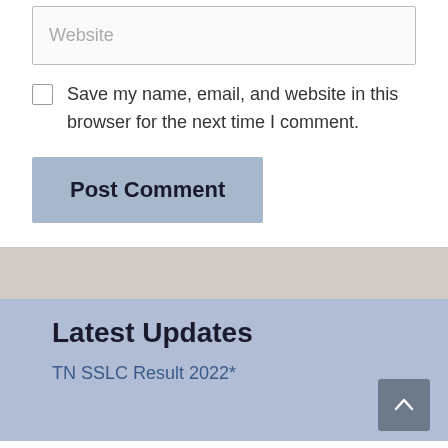Website
Save my name, email, and website in this browser for the next time I comment.
Post Comment
Latest Updates
TN SSLC Result 2022*